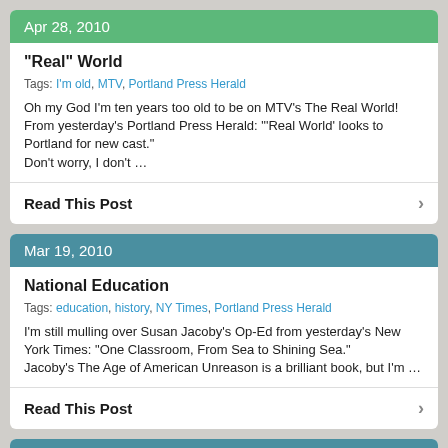Apr 28, 2010
“Real” World
Tags: I’m old, MTV, Portland Press Herald
Oh my God I’m ten years too old to be on MTV’s The Real World! From yesterday’s Portland Press Herald: “‘Real World’ looks to Portland for new cast.”
Don’t worry, I don’t …
Read This Post
Mar 19, 2010
National Education
Tags: education, history, NY Times, Portland Press Herald
I’m still mulling over Susan Jacoby’s Op-Ed from yesterday’s New York Times: “One Classroom, From Sea to Shining Sea.”
Jacoby’s The Age of American Unreason is a brilliant book, but I’m …
Read This Post
Mar 17, 2010
Ellis Leaving Press Herald